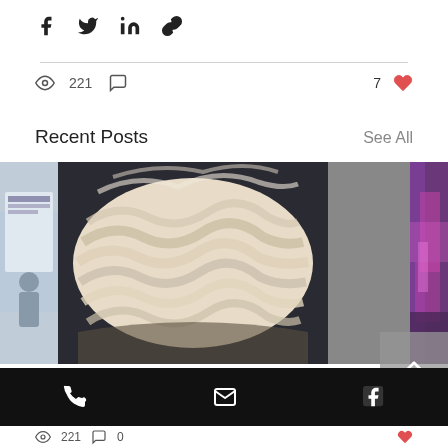Recent Posts    See All
[Figure (screenshot): Social media post UI showing share icons (Facebook, Twitter, LinkedIn, link), view count 221, comment icon, and 7 likes with heart icon]
[Figure (photo): Three blog post thumbnails: left shows a person at a display board, center shows a close-up of raw white wool/fleece on dark fabric, right shows purple/pink dyed fibers]
Processing Dobby into Core wool
[Figure (screenshot): Scroll-to-top button with upward chevron on grey background]
Footer with phone, email, and Facebook icons on black background